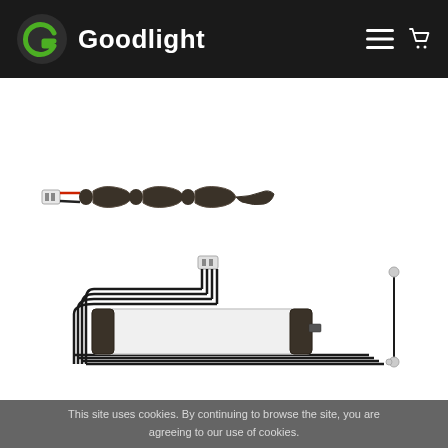[Figure (logo): Goodlight company logo with green G icon and white Goodlight text on dark background, with hamburger menu and cart icons on the right]
[Figure (photo): Two emergency lighting battery pack products: top one is a flexible multi-segment dark battery pack with red and white wires and a connector; bottom one is a white rectangular battery unit with black wiring harness and connectors]
This site uses cookies. By continuing to browse the site, you are agreeing to our use of cookies.